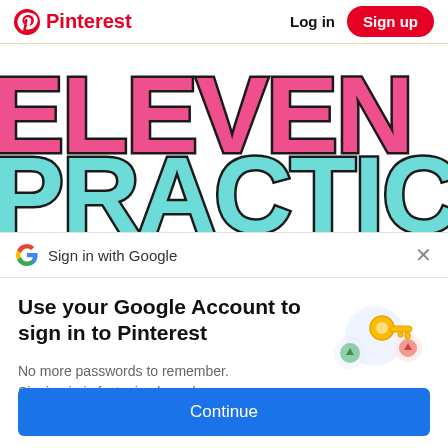Pinterest  Log in  Sign up
[Figure (illustration): Large colorful text art showing 'ELEVEN' in pink with black outline and 'PRACTICAL' in teal/cyan with black outline on white background]
Sign in with Google
Use your Google Account to sign in to Pinterest
No more passwords to remember. Signing in is fast, simple and secure.
[Figure (illustration): Google Sign-in illustration with a golden key and colorful circular elements]
Continue